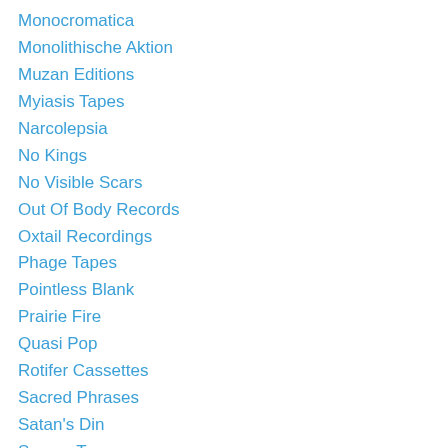Monocromatica
Monolithische Aktion
Muzan Editions
Myiasis Tapes
Narcolepsia
No Kings
No Visible Scars
Out Of Body Records
Oxtail Recordings
Phage Tapes
Pointless Blank
Prairie Fire
Quasi Pop
Rotifer Cassettes
Sacred Phrases
Satan's Din
Scrape Tapes
Sensory Leakage
Sickcore
Side Of the Sun